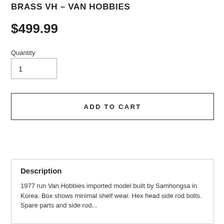BRASS VH – VAN HOBBIES
$499.99
Quantity
1
ADD TO CART
Description
1977 run Van Hobbies imported model built by Samhongsa in Korea. Box shows minimal shelf wear. Hex head side rod bolts. Spare parts and side rod...